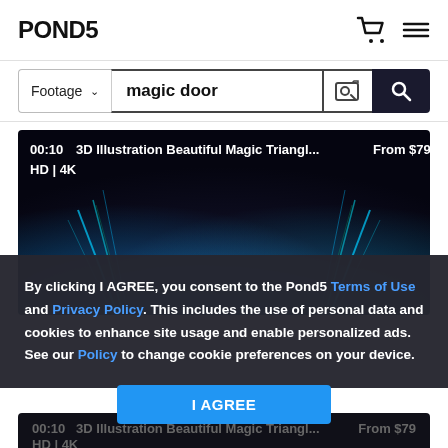POND5
Footage  magic door
[Figure (screenshot): Video thumbnail showing 3D illustration with blue light rays on dark background. Title: 00:10  3D Illustration Beautiful Magic Triangl...  From $79  HD | 4K]
By clicking I AGREE, you consent to the Pond5 Terms of Use and Privacy Policy. This includes the use of personal data and cookies to enhance site usage and enable personalized ads. See our Policy to change cookie preferences on your device.
I AGREE
00:10  3D Illustration Beautiful Magic Triangl...  From $79  HD | 4K